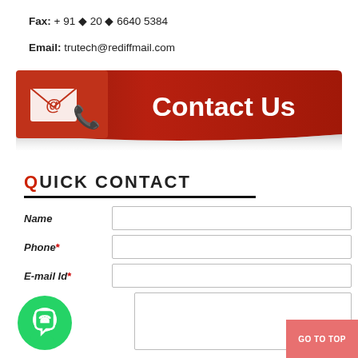Fax: + 91 ◆ 20 ◆ 6640 5384
Email: trutech@rediffmail.com
[Figure (infographic): Red Contact Us banner with email icon and telephone image on the left, bold white text 'Contact Us' on the right]
QUICK CONTACT
Name [input field]
Phone* [input field]
E-mail Id* [input field]
Message [textarea]
[Figure (logo): WhatsApp green circle icon]
GO TO TOP